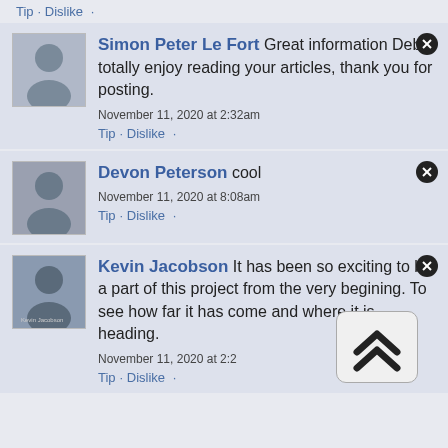Tip · Dislike ·
Simon Peter Le Fort Great information Deb. I totally enjoy reading your articles, thank you for posting.
November 11, 2020 at 2:32am
Tip · Dislike ·
Devon Peterson cool
November 11, 2020 at 8:08am
Tip · Dislike ·
Kevin Jacobson It has been so exciting to be a part of this project from the very begining. To see how far it has come and where it is heading.
November 11, 2020 at 2:2...
Tip · Dislike ·